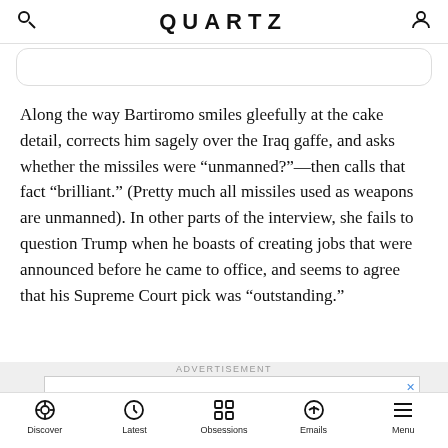QUARTZ
Along the way Bartiromo smiles gleefully at the cake detail, corrects him sagely over the Iraq gaffe, and asks whether the missiles were “unmanned?”—then calls that fact “brilliant.” (Pretty much all missiles used as weapons are unmanned). In other parts of the interview, she fails to question Trump when he boasts of creating jobs that were announced before he came to office, and seems to agree that his Supreme Court pick was “outstanding.”
ADVERTISEMENT
Discover  Latest  Obsessions  Emails  Menu